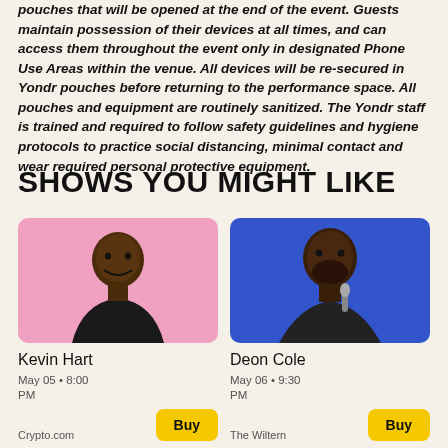pouches that will be opened at the end of the event. Guests maintain possession of their devices at all times, and can access them throughout the event only in designated Phone Use Areas within the venue. All devices will be re-secured in Yondr pouches before returning to the performance space. All pouches and equipment are routinely sanitized. The Yondr staff is trained and required to follow safety guidelines and hygiene protocols to practice social distancing, minimal contact and wear required personal protective equipment.
SHOWS YOU MIGHT LIKE
[Figure (photo): Photo of Kevin Hart against a pink background]
Kevin Hart
May 05 • 8:00 PM
Crypto.com
[Figure (photo): Photo of Deon Cole against a blue background holding a microphone]
Deon Cole
May 06 • 9:30 PM
The Wiltern